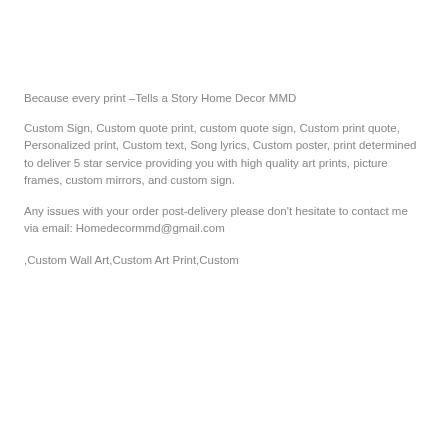Because every print –Tells a Story Home Decor MMD
Custom Sign, Custom quote print, custom quote sign, Custom print quote, Personalized print, Custom text, Song lyrics, Custom poster, print determined to deliver 5 star service providing you with high quality art prints, picture frames, custom mirrors, and custom sign.
Any issues with your order post-delivery please don't hesitate to contact me via email: Homedecormmd@gmail.com
,Custom Wall Art,Custom Art Print,Custom